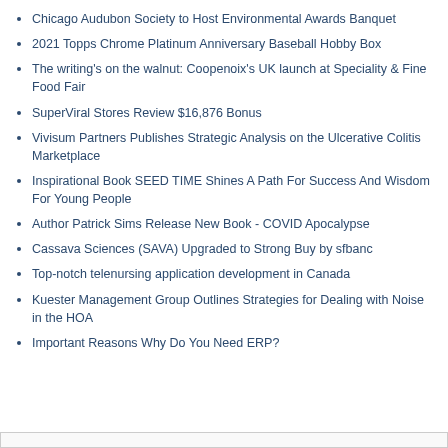Chicago Audubon Society to Host Environmental Awards Banquet
2021 Topps Chrome Platinum Anniversary Baseball Hobby Box
The writing's on the walnut: Coopenoix's UK launch at Speciality & Fine Food Fair
SuperViral Stores Review $16,876 Bonus
Vivisum Partners Publishes Strategic Analysis on the Ulcerative Colitis Marketplace
Inspirational Book SEED TIME Shines A Path For Success And Wisdom For Young People
Author Patrick Sims Release New Book - COVID Apocalypse
Cassava Sciences (SAVA) Upgraded to Strong Buy by sfbanc
Top-notch telenursing application development in Canada
Kuester Management Group Outlines Strategies for Dealing with Noise in the HOA
Important Reasons Why Do You Need ERP?